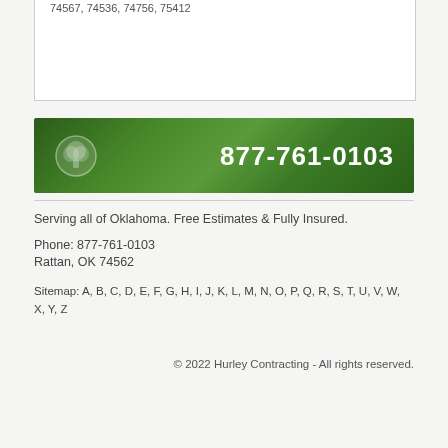74567, 74536, 74756, 75412
[Figure (infographic): Green banner with tree service logo on left and phone number 877-761-0103 in white on right, over a background of green tree foliage]
Serving all of Oklahoma. Free Estimates & Fully Insured.
Phone: 877-761-0103
Rattan, OK 74562
Sitemap: A, B, C, D, E, F, G, H, I, J, K, L, M, N, O, P, Q, R, S, T, U, V, W, X, Y, Z
© 2022 Hurley Contracting - All rights reserved.